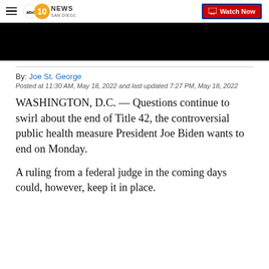10News San Diego — Watch Now
[Figure (screenshot): Black video thumbnail area]
By: Joe St. George
Posted at 11:30 AM, May 18, 2022 and last updated 7:27 PM, May 18, 2022
WASHINGTON, D.C. — Questions continue to swirl about the end of Title 42, the controversial public health measure President Joe Biden wants to end on Monday.
A ruling from a federal judge in the coming days could, however, keep it in place.